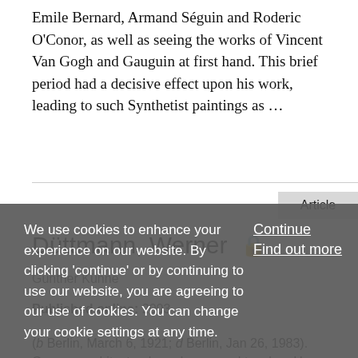Emile Bernard, Armand Séguin and Roderic O'Conor, as well as seeing the works of Vincent Van Gogh and Gauguin at first hand. This brief period had a decisive effect upon his work, leading to such Synthetist paintings as …
Düttmann, Werner
Günther Kühne
Published online: 2003
(b Berlin, March 6, 1921; d Berlin, Jan 26, 1983). German architect, urban planner and teacher. He studied
We use cookies to enhance your experience on our website. By clicking 'continue' or by continuing to use our website, you are agreeing to our use of cookies. You can change your cookie settings at any time.